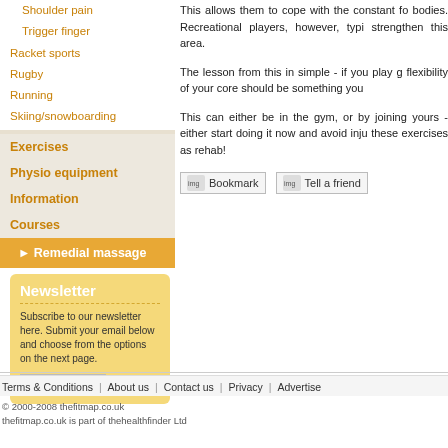Shoulder pain
Trigger finger
Racket sports
Rugby
Running
Skiing/snowboarding
Exercises
Physio equipment
Information
Courses
Remedial massage
This allows them to cope with the constant fo bodies. Recreational players, however, typi strengthen this area.
The lesson from this in simple - if you play g flexibility of your core should be something you
This can either be in the gym, or by joining yours - either start doing it now and avoid inju these exercises as rehab!
Newsletter
Subscribe to our newsletter here. Submit your email below and choose from the options on the next page.
Terms & Conditions | About us | Contact us | Privacy | Advertise
© 2000-2008 thefitmap.co.uk thefitmap.co.uk is part of thehealthfinder Ltd